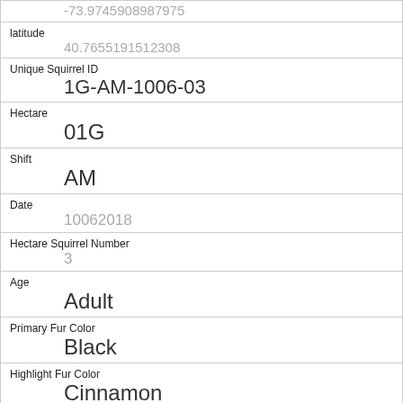|  | -73.9745908987975 |
| latitude | 40.7655191512308 |
| Unique Squirrel ID | 1G-AM-1006-03 |
| Hectare | 01G |
| Shift | AM |
| Date | 10062018 |
| Hectare Squirrel Number | 3 |
| Age | Adult |
| Primary Fur Color | Black |
| Highlight Fur Color | Cinnamon |
| Combination of Primary and Highlight Color |  |